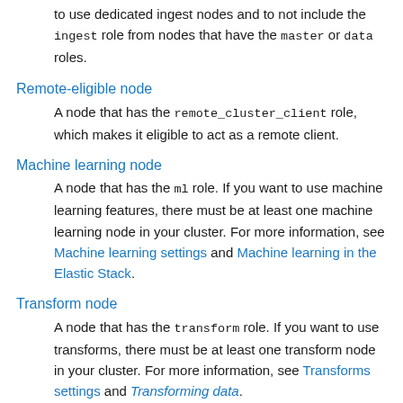to use dedicated ingest nodes and to not include the ingest role from nodes that have the master or data roles.
Remote-eligible node
A node that has the remote_cluster_client role, which makes it eligible to act as a remote client.
Machine learning node
A node that has the ml role. If you want to use machine learning features, there must be at least one machine learning node in your cluster. For more information, see Machine learning settings and Machine learning in the Elastic Stack.
Transform node
A node that has the transform role. If you want to use transforms, there must be at least one transform node in your cluster. For more information, see Transforms settings and Transforming data.